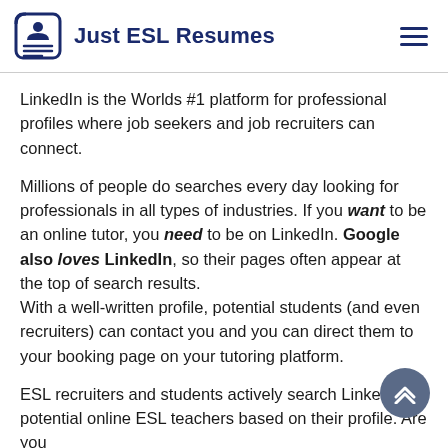Just ESL Resumes
LinkedIn is the Worlds #1 platform for professional profiles where job seekers and job recruiters can connect.
Millions of people do searches every day looking for professionals in all types of industries. If you want to be an online tutor, you need to be on LinkedIn. Google also loves LinkedIn, so their pages often appear at the top of search results.
With a well-written profile, potential students (and even recruiters) can contact you and you can direct them to your booking page on your tutoring platform.
ESL recruiters and students actively search LinkedIn for potential online ESL teachers based on their profile. Are you